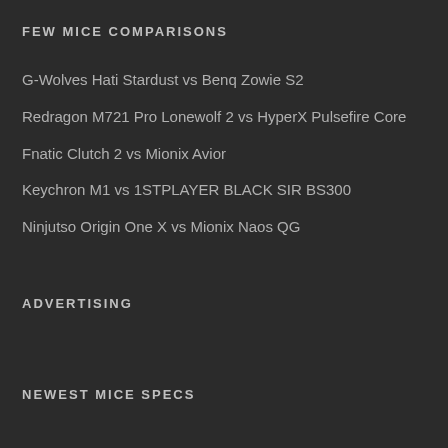FEW MICE COMPARISONS
G-Wolves Hati Stardust vs Benq Zowie S2
Redragon M721 Pro Lonewolf 2 vs HyperX Pulsefire Core
Fnatic Clutch 2 vs Mionix Avior
Keychron M1 vs 1STPLAYER BLACK SIR BS300
Ninjutso Origin One X vs Mionix Naos QG
ADVERTISING
NEWEST MICE SPECS